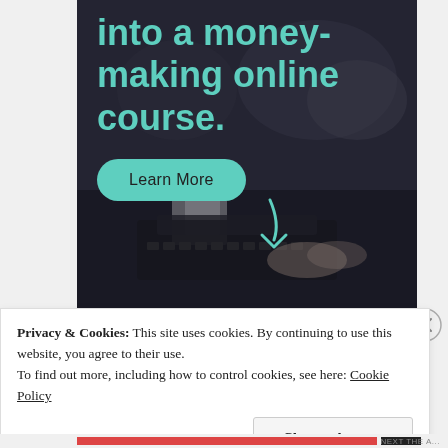[Figure (illustration): Advertisement banner with dark background showing a person typing on a vintage typewriter. Teal headline text reads 'into a money-making online course.' with a teal 'Learn More' button and a teal downward arrow SVG overlay.]
Privacy & Cookies: This site uses cookies. By continuing to use this website, you agree to their use.
To find out more, including how to control cookies, see here: Cookie Policy
Close and accept